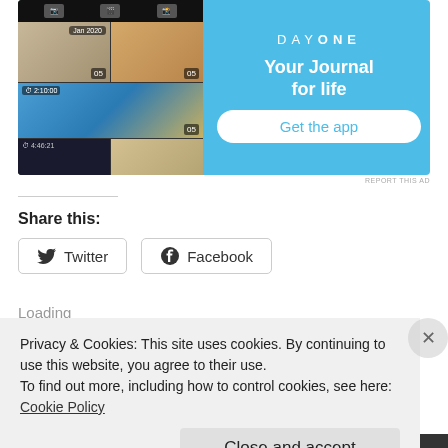[Figure (screenshot): Day One app advertisement banner with phone screenshot on left showing photo grid UI, and right side showing light blue background with 'DAY ONE' logo, 'Your Journal for life' tagline, and 'Get the app' button]
REPORT THIS AD
Share this:
Twitter
Facebook
Loading
Privacy & Cookies: This site uses cookies. By continuing to use this website, you agree to their use.
To find out more, including how to control cookies, see here: Cookie Policy
Close and accept